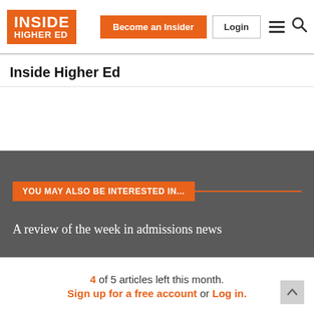[Figure (logo): Inside Higher Ed logo — orange background with white text 'INSIDE HIGHER ED']
Become an Insider | Login
Inside Higher Ed
YOU MAY ALSO BE INTERESTED IN...
A review of the week in admissions news
4 of 5 articles left this month. Sign up for a free account or Log in.